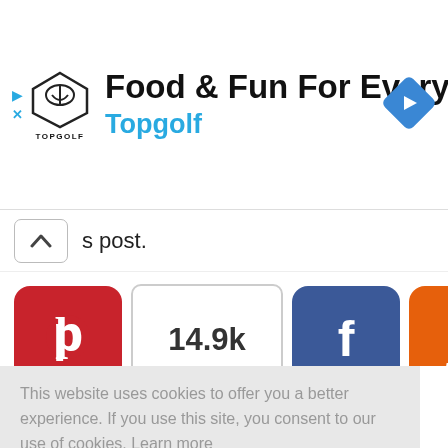[Figure (screenshot): Topgolf advertisement banner: shield logo with TOPGOLF wordmark, title 'Food & Fun For Everyone', subtitle 'Topgolf' in blue, navigation arrow diamond icon on the right]
s post.
[Figure (screenshot): Social share buttons row: Pinterest (red, P logo), 14.9k share count, Facebook (blue, f logo), Yummly (orange, Y logo), Twitter (blue, bird logo), Print (green, printer logo)]
[Figure (screenshot): AddThis blue plus button]
This website uses cookies to offer you a better experience. If you use this site, you consent to our use of cookies. Learn more
I Agree